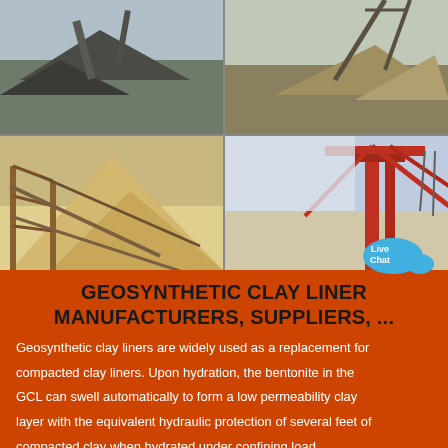[Figure (photo): Four-panel photo grid showing mining/quarrying industrial equipment including stone crushers, conveyor belts, aggregate piles and heavy machinery at industrial sites.]
GEOSYNTHETIC CLAY LINER MANUFACTURERS, SUPPLIERS, ...
Geosynthetic clay liners are widely used as a replacement for compacted clay liners. Upon hydration, the bentonite in the GCL can swell automatically to form a low permeability clay layer with the equivalent hydraulic protection of several feet of compacted clay when hydrated under confining load.
Read More